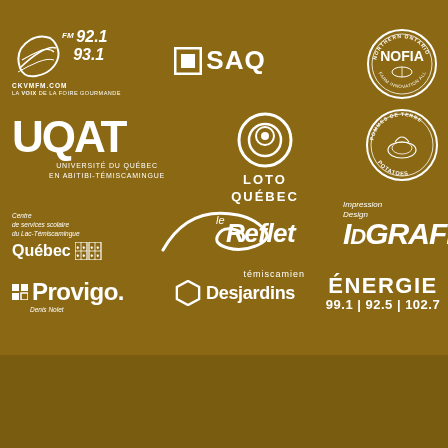ASSURANCE   VILLE-MARIE   ABITIBI-TÉMISCAMINGUE
[Figure (logo): FM 92.1 93.1 CKVMFM.COM radio logo - LA VOIX DE LA FOIRE GOURMANDE]
[Figure (logo): SAQ logo with square icon]
[Figure (logo): NOFIA - Northern Ontario Farm Innovation Alliance circular badge]
[Figure (logo): UQAT - Université du Québec en Abitibi-Témiscamingue logo]
[Figure (logo): Loto-Québec logo with circular swirl icon]
[Figure (logo): Pommes de Terre / Potatoes circular badge]
[Figure (logo): Centre de services scolaire du Lac-Témiscamingue / Québec fleur-de-lys logo]
[Figure (logo): Le Reflet témiscamien newspaper logo]
[Figure (logo): Impression Design ID GRAFIX logo]
[Figure (logo): Provigo Denis Nolet logo]
[Figure (logo): Desjardins hexagon logo]
[Figure (logo): ENERGIE 99.1 | 92.5 | 102.7 radio logo]
© FOIRE GOURMANDE DE L'ABITIBI-TÉMISCAMINGUE ET DU NORD-EST ONTARIEN
DESIGN + PROGRAMMATION : KIWI CRÉATION